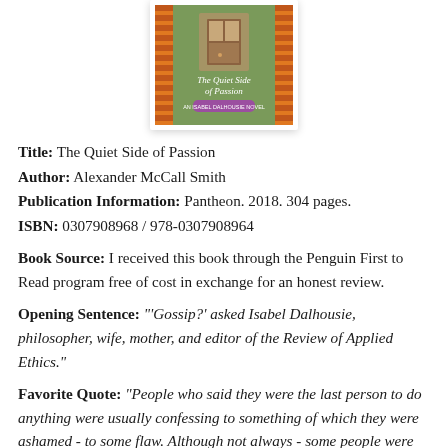[Figure (illustration): Book cover of 'The Quiet Side of Passion' showing a green cover with orange accents and a door/window motif, part of an Alexander McCall Smith series]
Title:  The Quiet Side of Passion
Author:  Alexander McCall Smith
Publication Information:  Pantheon. 2018. 304 pages.
ISBN:  0307908968 / 978-0307908964
Book Source:  I received this book through the Penguin First to Read program free of cost in exchange for an honest review.
Opening Sentence:  "'Gossip?' asked Isabel Dalhousie, philosopher, wife, mother, and editor of the Review of Applied Ethics."
Favorite Quote:  "People who said they were the last person to do anything were usually confessing to something of which they were ashamed - to some flaw. Although not always - some people were the last people to claim to be the